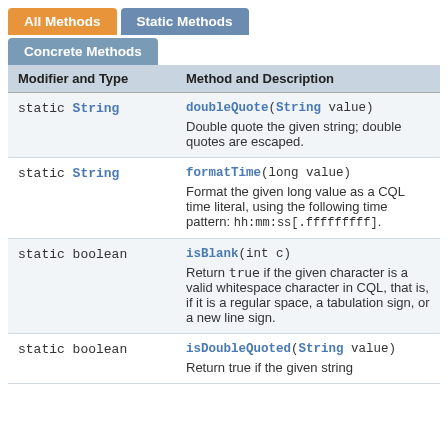| Modifier and Type | Method and Description |
| --- | --- |
| static String | doubleQuote(String value)
Double quote the given string; double quotes are escaped. |
| static String | formatTime(long value)
Format the given long value as a CQL time literal, using the following time pattern: hh:mm:ss[.fffffffff]. |
| static boolean | isBlank(int c)
Return true if the given character is a valid whitespace character in CQL, that is, if it is a regular space, a tabulation sign, or a new line sign. |
| static boolean | isDoubleQuoted(String value)
Return true if the given string... |